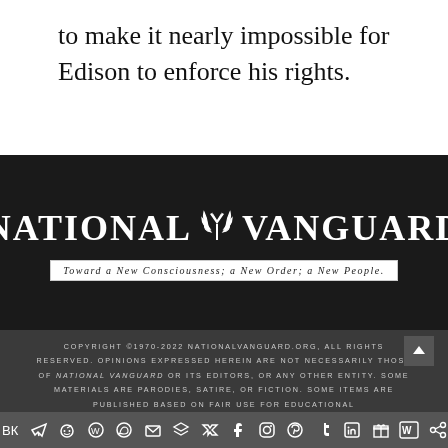to make it nearly impossible for Edison to enforce his rights.
[Figure (logo): National Vanguard logo — white serif text on dark background with tagline 'Toward a New Consciousness; a New Order; a New People.']
COPYRIGHT ©1970-2022 NATIONALVANGUARD.ORG, ALL RIGHTS RESERVED. OPINIONS EXPRESSED HEREIN ARE NOT NECESSARILY THOSE OF NATIONAL VANGUARD OR ITS EDITORS, OR ANY OTHER ENTITY. SOME MATERIALS ARE PARODIES, SATIRE, OR FICTION. SOME ITEMS ARE PUBLISHED BASED ON FAIR USE FOR EDUCATIONAL
Social media icons bar